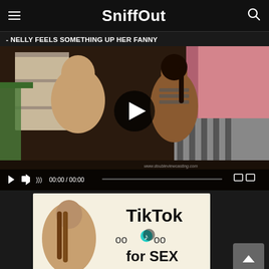SniffOut
- NELLY FEELS SOMETHING UP HER FANNY
[Figure (screenshot): Video player showing two people in a bedroom setting with a play button overlay. Controls show 00:00 / 00:00. Watermark: www.doubleviewcasting.com]
[Figure (photo): Advertisement banner with TikTok branding and text 'TikTok for SEX' with woman and breast emoji-style graphics]